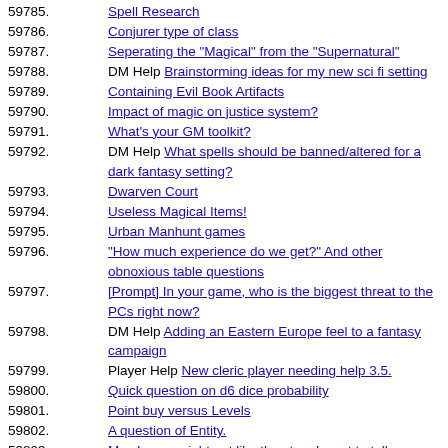59785. Spell Research
59786. Conjurer type of class
59787. Seperating the "Magical" from the "Supernatural"
59788. DM Help Brainstorming ideas for my new sci fi setting
59789. Containing Evil Book Artifacts
59790. Impact of magic on justice system?
59791. What's your GM toolkit?
59792. DM Help What spells should be banned/altered for a dark fantasy setting?
59793. Dwarven Court
59794. Useless Magical Items!
59795. Urban Manhunt games
59796. "How much experience do we get?" And other obnoxious table questions
59797. [Prompt] In your game, who is the biggest threat to the PCs right now?
59798. DM Help Adding an Eastern Europe feel to a fantasy campaign
59799. Player Help New cleric player needing help 3.5.
59800. Quick question on d6 dice probability
59801. Point buy versus Levels
59802. A question of Entity.
59803. My players might not like the story I want to tell
59804. DM workshop: Improvising
59805. DM wants broken PCs using custom rules, what can you come up with?
59806. Dragons and Castle-building
59807. DM Help Toying with a Demonic Campaign - Ideas?
59808. What's Behind Your DM Screen?
59809. DM Help Good way to encourage a new player to RP?